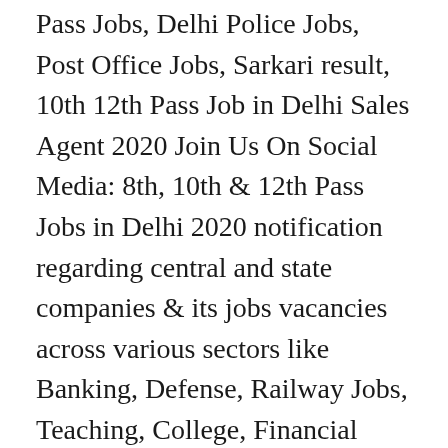Pass Jobs, Delhi Police Jobs, Post Office Jobs, Sarkari result, 10th 12th Pass Job in Delhi Sales Agent 2020 Join Us On Social Media: 8th, 10th & 12th Pass Jobs in Delhi 2020 notification regarding central and state companies & its jobs vacancies across various sectors like Banking, Defense, Railway Jobs, Teaching, College, Financial Institutions, Universities & Schools, SSC, UPSC, Agriculture Jobs and many more. Technical Support Representative (Non-voice), Customer Serv... Technical Support Representative salaries in Delhi, Delhi. 12th Pass Govt Jobs 2020: Get free notification of Sarkari Job for 12th ... Search and apply for the leading 12th Pass Call Center job offers. Candidates who have passed 8th, 10th & 12th Pass